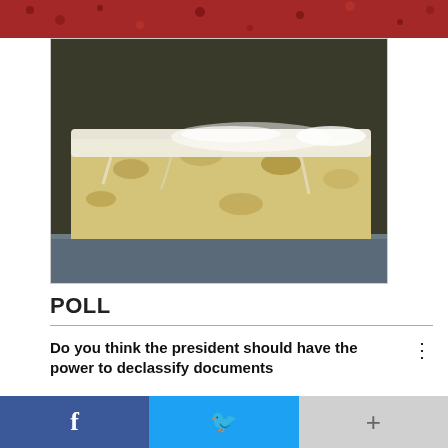[Figure (photo): Top strip showing a red food dish (possibly cranberries or red pepper flakes) partially visible at the top of the page]
[Figure (photo): Advertisement image showing a close-up of a frosted cake or dessert bar with a glazed topping, placed on a dark blue surface with parchment paper]
POLL
Do you think the president should have the power to declassify documents